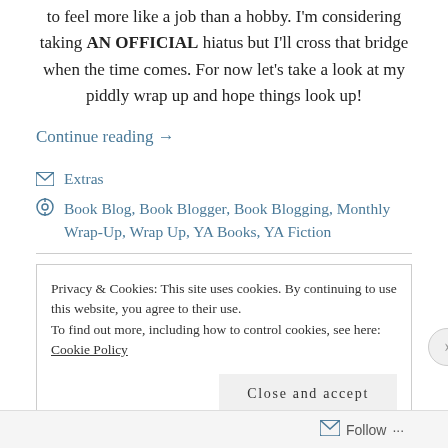to feel more like a job than a hobby. I'm considering taking AN OFFICIAL hiatus but I'll cross that bridge when the time comes. For now let's take a look at my piddly wrap up and hope things look up!
Continue reading →
Extras
Book Blog, Book Blogger, Book Blogging, Monthly Wrap-Up, Wrap Up, YA Books, YA Fiction
Privacy & Cookies: This site uses cookies. By continuing to use this website, you agree to their use. To find out more, including how to control cookies, see here: Cookie Policy
Close and accept
Follow